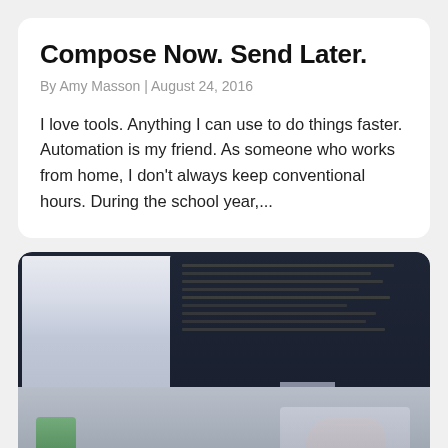Compose Now. Send Later.
By Amy Masson | August 24, 2016
I love tools. Anything I can use to do things faster. Automation is my friend. As someone who works from home, I don't always keep conventional hours. During the school year,...
[Figure (photo): A blurred photo of a dual-monitor computer setup on a desk, with a person's hands near a keyboard and a green cup visible on the left side.]